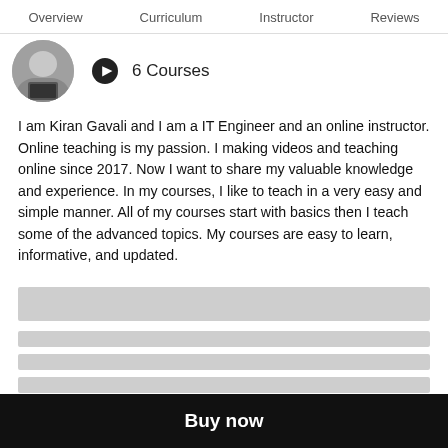Overview  Curriculum  Instructor  Reviews
[Figure (photo): Circular avatar photo of instructor, partially visible at top, showing a laptop on a desk]
6 Courses
I am Kiran Gavali and I am a IT Engineer and an online instructor. Online teaching is my passion. I making videos and teaching online since 2017. Now I want to share my valuable knowledge and experience. In my courses, I like to teach in a very easy and simple manner. All of my courses start with basics then I teach some of the advanced topics. My courses are easy to learn, informative, and updated.
[Figure (other): Skeleton loading placeholder blocks — one large block followed by four smaller blocks]
Buy now